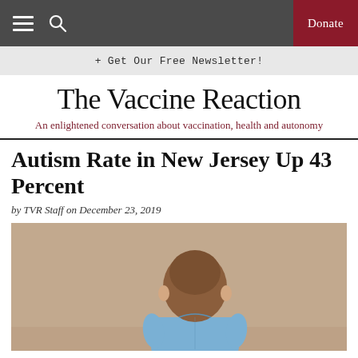The Vaccine Reaction — navigation bar with Donate button
+ Get Our Free Newsletter!
The Vaccine Reaction
An enlightened conversation about vaccination, health and autonomy
Autism Rate in New Jersey Up 43 Percent
by TVR Staff on December 23, 2019
[Figure (photo): A young boy seen from behind, wearing a light blue shirt, against a beige/tan background]